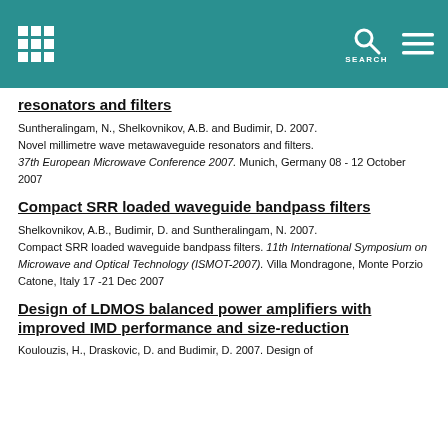resonators and filters
Suntheralingam, N., Shelkovnikov, A.B. and Budimir, D. 2007. Novel millimetre wave metawaveguide resonators and filters. 37th European Microwave Conference 2007. Munich, Germany 08 - 12 October 2007
Compact SRR loaded waveguide bandpass filters
Shelkovnikov, A.B., Budimir, D. and Suntheralingam, N. 2007. Compact SRR loaded waveguide bandpass filters. 11th International Symposium on Microwave and Optical Technology (ISMOT-2007). Villa Mondragone, Monte Porzio Catone, Italy 17 -21 Dec 2007
Design of LDMOS balanced power amplifiers with improved IMD performance and size-reduction
Koulouzis, H., Draskovic, D. and Budimir, D. 2007. Design of